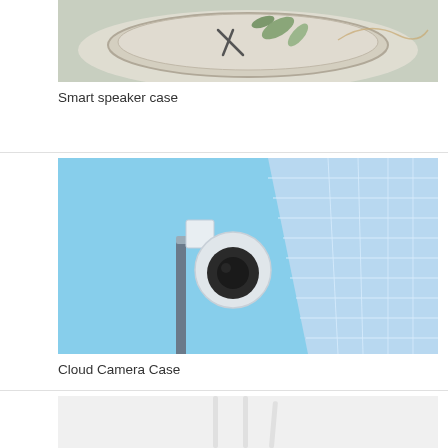[Figure (photo): Smart speaker case product photo showing a round tray with scissors and leaves on top, viewed from above]
Smart speaker case
[Figure (photo): Cloud Camera Case product photo showing a security PTZ dome camera on a pole with a tall glass office building in the background against a blue sky]
Cloud Camera Case
[Figure (photo): Product photo showing three white antenna rods standing upright against a light background]